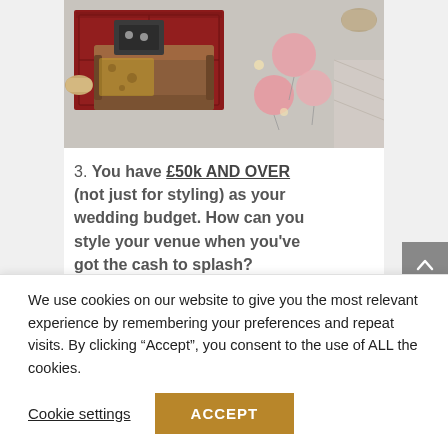[Figure (photo): Aerial/top-down view of a lounge seating area with brown leather sofa, red patterned rug, decorative items, pink/rose-gold balloons, and various furnishings on a concrete floor.]
3. You have £50k AND OVER (not just for styling) as your wedding budget. How can you style your venue when you've got the cash to splash?
We use cookies on our website to give you the most relevant experience by remembering your preferences and repeat visits. By clicking “Accept”, you consent to the use of ALL the cookies.
Cookie settings    ACCEPT